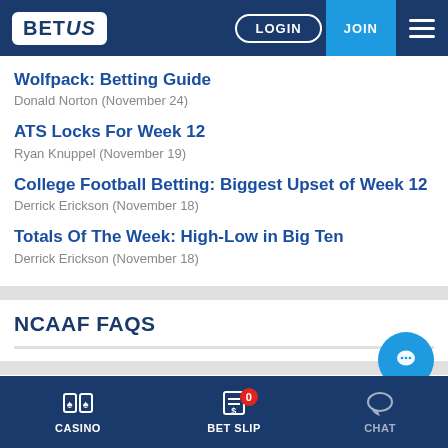BET US | LOGIN | JOIN
Wolfpack: Betting Guide
Donald Norton (November 24)
ATS Locks For Week 12
Ryan Knuppel (November 19)
College Football Betting: Biggest Upset of Week 12
Derrick Erickson (November 18)
Totals Of The Week: High-Low in Big Ten
Derrick Erickson (November 18)
NCAAF FAQS
CASINO | BET SLIP | CHAT